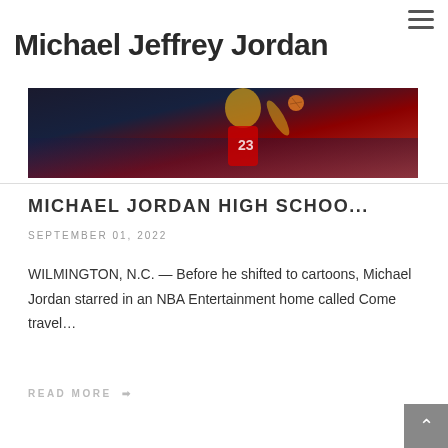Michael Jeffrey Jordan
[Figure (photo): Basketball action photo showing a player in a Bulls jersey mid-game with crowd in background]
MICHAEL JORDAN HIGH SCHOO...
SEPTEMBER 01, 2022
WILMINGTON, N.C. — Before he shifted to cartoons, Michael Jordan starred in an NBA Entertainment home called Come travel…
READ MORE →